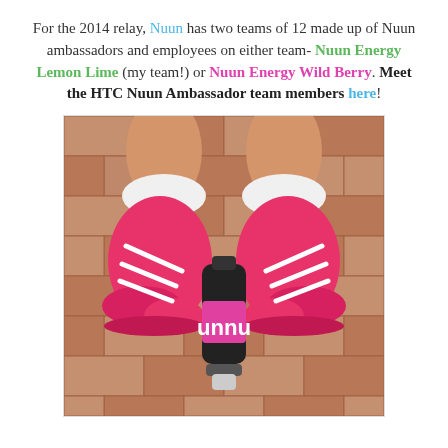For the 2014 relay, Nuun has two teams of 12 made up of Nuun ambassadors and employees on either team- Nuun Energy Lemon Lime (my team!) or Nuun Energy Wild Berry. Meet the HTC Nuun Ambassador team members here!
[Figure (photo): A top-down photo of two feet wearing bright pink/magenta Adidas running shoes with white socks, standing on a brick/paver surface, with a black Nuun water bottle (pink label, white Nuun logo) placed between the feet.]